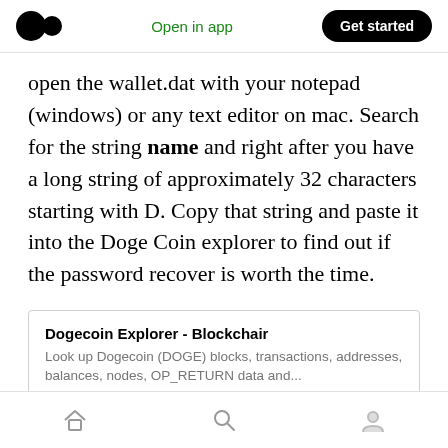Medium logo | Open in app | Get started
open the wallet.dat with your notepad (windows) or any text editor on mac. Search for the string name and right after you have a long string of approximately 32 characters starting with D. Copy that string and paste it into the Doge Coin explorer to find out if the password recover is worth the time.
Dogecoin Explorer - Blockchair
Look up Dogecoin (DOGE) blocks, transactions, addresses, balances, nodes, OP_RETURN data and...
blockchair.com
Home | Search | Profile